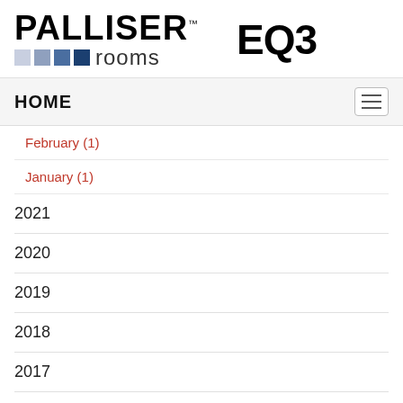[Figure (logo): Palliser Rooms and EQ3 brand logos side by side]
HOME
February (1)
January (1)
2021
2020
2019
2018
2017
2016
2015
2014